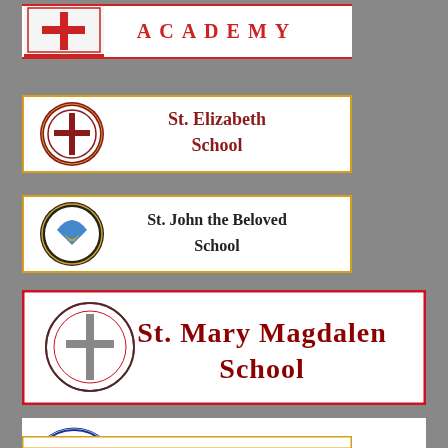[Figure (logo): Academy banner with crest logo and 'ACADEMY' text in red spaced letters on white background]
[Figure (logo): St. Elizabeth School banner with circular school seal on gold-bordered white background]
[Figure (logo): St. John the Beloved School banner with circular school seal on gold-bordered white background]
[Figure (logo): St. Mary Magdalen School banner with cross seal on red-bordered white background, large dark red text]
[Figure (logo): St. Mary's Seminary & University banner with shield logo, italic tagline and blue bar with white university name]
[Figure (logo): Partially visible banner at bottom of page]